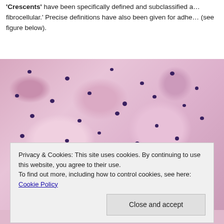'Crescents' have been specifically defined and subclassified a… fibrocellular.' Precise definitions have also been given for adhe… (see figure below).
[Figure (photo): Histological microscopy image (H&E stain) showing renal tissue with crescents. Pink/mauve stained glomerular tissue with dark purple cell nuclei. A black downward arrow annotation marks a specific structure in the image.]
Privacy & Cookies: This site uses cookies. By continuing to use this website, you agree to their use.
To find out more, including how to control cookies, see here: Cookie Policy